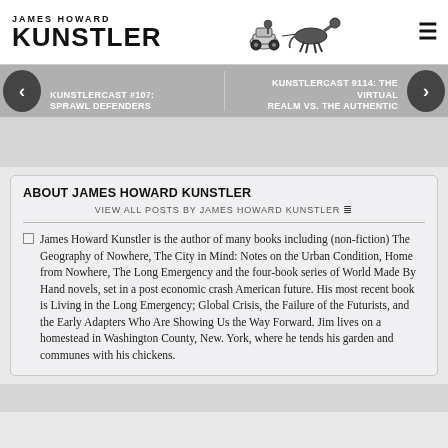JAMES HOWARD KUNSTLER
[Figure (illustration): Black and white illustration of a horse pulling a car]
KUNSTLERCAST #107: SPRAWL DEFENDERS
KUNSTLERCAST 9114: THE VIRTUAL REALM VS. THE AUTHENTIC
ABOUT JAMES HOWARD KUNSTLER
VIEW ALL POSTS BY JAMES HOWARD KUNSTLER
James Howard Kunstler is the author of many books including (non-fiction) The Geography of Nowhere, The City in Mind: Notes on the Urban Condition, Home from Nowhere, The Long Emergency and the four-book series of World Made By Hand novels, set in a post economic crash American future. His most recent book is Living in the Long Emergency; Global Crisis, the Failure of the Futurists, and the Early Adapters Who Are Showing Us the Way Forward. Jim lives on a homestead in Washington County, New. York, where he tends his garden and communes with his chickens.